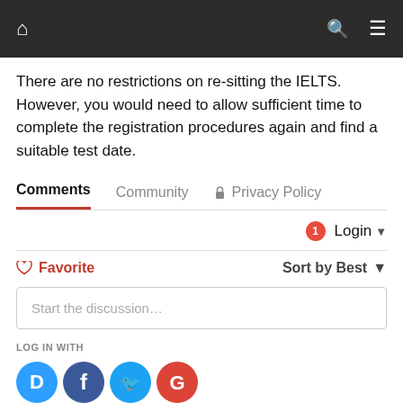Navigation bar with home, search, and menu icons
There are no restrictions on re-sitting the IELTS. However, you would need to allow sufficient time to complete the registration procedures again and find a suitable test date.
Comments  Community  🔒 Privacy Policy
1  Login ▾
♡ Favorite  Sort by Best ▾
Start the discussion…
LOG IN WITH
[Figure (logo): Four social login icons: Disqus (blue speech bubble with D), Facebook (dark blue circle with f), Twitter (light blue circle with bird), Google (red circle with G)]
OR SIGN UP WITH DISQUS ?
Name